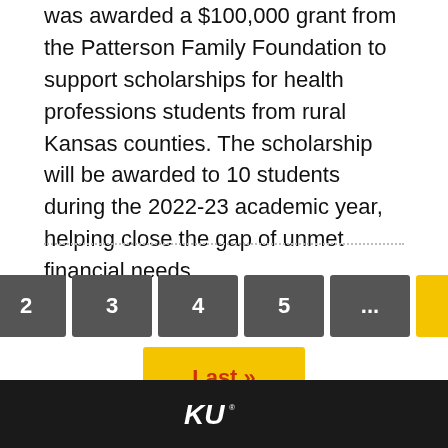was awarded a $100,000 grant from the Patterson Family Foundation to support scholarships for health professions students from rural Kansas counties. The scholarship will be awarded to 10 students during the 2022-23 academic year, helping close the gap of unmet financial needs.
Pagination: 1 2 3 4 5 ... Next > Last >>